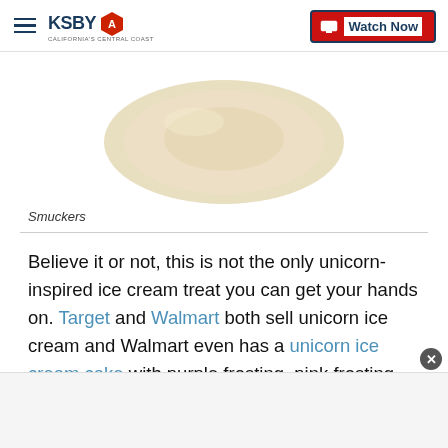KSBY — California's Central Coast | Watch Now
[Figure (photo): Partial product image showing a cream/beige colored container bottom, likely a Smucker's ice cream product, on white background]
Smuckers
Believe it or not, this is not the only unicorn-inspired ice cream treat you can get your hands on. Target and Walmart both sell unicorn ice cream and Walmart even has a unicorn ice cream cake with purple frosting, pink frosting swirls and multi-colored sprinkles on the outside and layers of cake batter ice cream and confetti cake inside.
[Figure (other): Advertisement area at bottom of page with close button]